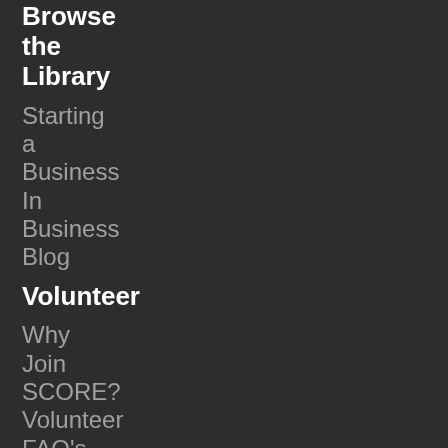Browse
the
Library
Starting
a
Business
In
Business
Blog
Volunteer
Why
Join
SCORE?
Volunteer
FAQ's